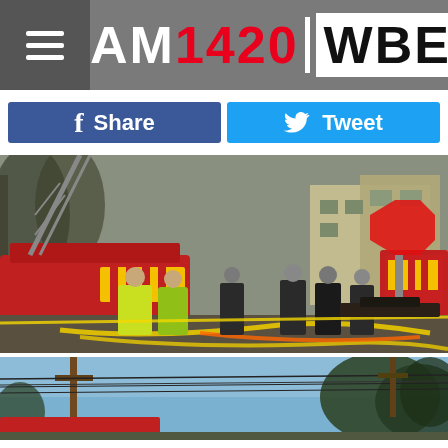AM1420 WBEC
Share
Tweet
[Figure (photo): Fire scene with firefighters, fire trucks with yellow/red markings, hoses on ground, ladder truck, residential buildings in background, people in high-vis jackets]
[Figure (photo): Street scene with utility poles and power lines against blue sky, trees in background, partial view of red fire truck at bottom]